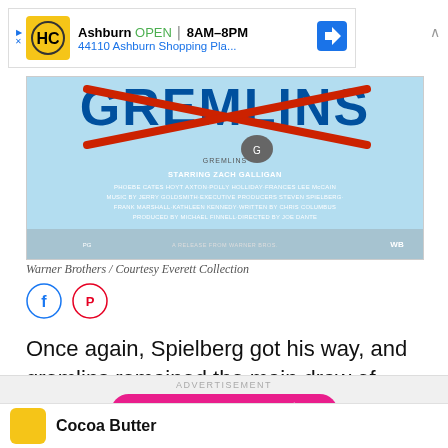[Figure (screenshot): Ad banner for HC Ashburn showing OPEN 8AM-8PM and address 44110 Ashburn Shopping Pla... with navigation arrow icon]
[Figure (photo): Gremlins movie poster (partial) showing the Gremlins logo with red X crossed out, starring credits including Zach Galligan, Phoebe Cates, Hoyt Axton, directed by Joe Dante, PG rating, Warner Bros release]
Warner Brothers / Courtesy Everett Collection
[Figure (screenshot): Facebook and Pinterest social sharing buttons (circular outline icons)]
Once again, Spielberg got his way, and gremlins remained the main draw of Gremlins.
ADVERTISEMENT
[Figure (screenshot): Pink pill-shaped CTA button reading 'Find more in the app!' with X close button]
[Figure (screenshot): Bottom ad item showing gold square icon and text 'Cocoa Butter']